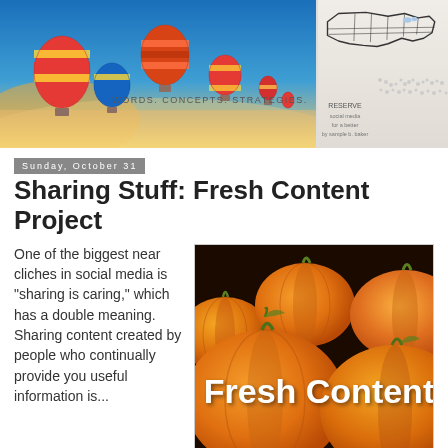[Figure (photo): Banner image showing colorful hot air balloons over misty mountains at sunrise, with text 'Words. Concepts. Strategies.' overlaid; on the right side, a book cover featuring a USA map illustration.]
Sunday, October 31
Sharing Stuff: Fresh Content Project
One of the biggest near cliches in social media is "sharing is caring," which has a double meaning. Sharing content created by people who continually provide you useful information is...
[Figure (photo): Photo of orange pumpkins piled together with white bold text overlay reading 'Fresh Content']